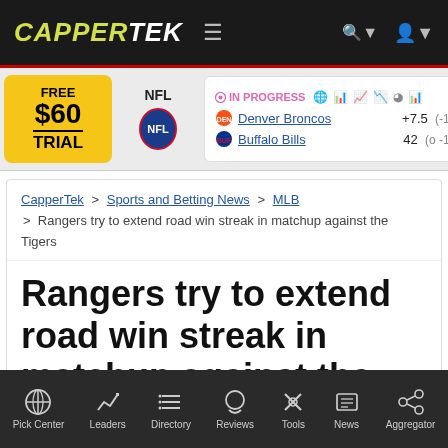CAPPERTEK
[Figure (screenshot): Sports betting scores bar showing NFL games in progress: Denver Broncos +7.5 (-110), Buffalo Bills 42 (o -110); partial Detroit Lions and Indianapolis Colts game also visible. Free $60 Trial advertisement on left.]
CapperTek > Sports and Betting News > MLB > Rangers try to extend road win streak in matchup against the Tigers
Rangers try to extend road win streak in matchup against the Tigers
Pick Center | Leaders | Directory | Reviews | Tools | News | Aggregator